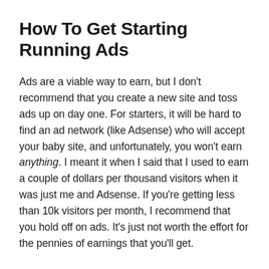How To Get Starting Running Ads
Ads are a viable way to earn, but I don't recommend that you create a new site and toss ads up on day one. For starters, it will be hard to find an ad network (like Adsense) who will accept your baby site, and unfortunately, you won't earn anything. I meant it when I said that I used to earn a couple of dollars per thousand visitors when it was just me and Adsense. If you're getting less than 10k visitors per month, I recommend that you hold off on ads. It's just not worth the effort for the pennies of earnings that you'll get.